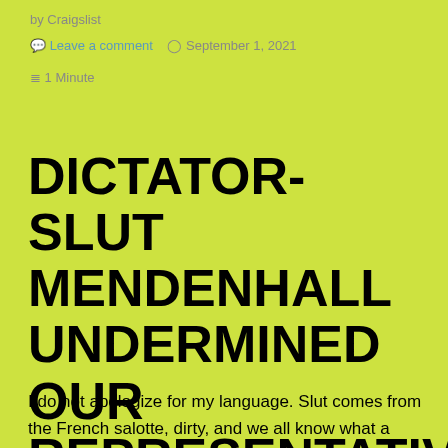by Craigslist
Leave a comment   September 1, 2021
1 Minute
DICTATOR-SLUT MENDENHALL UNDERMINED OUR REPRESENTATIVE PROCESS
I do not apologize for my language. Slut comes from the French salotte, dirty, and we all know what a whore is.